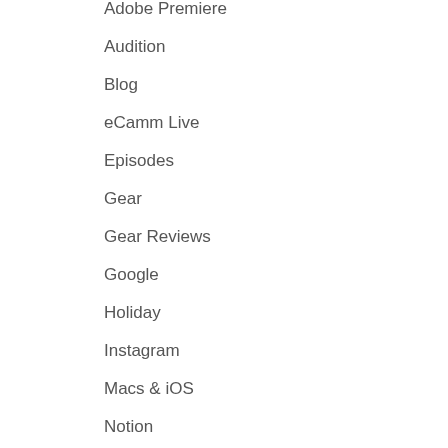Adobe Premiere
Audition
Blog
eCamm Live
Episodes
Gear
Gear Reviews
Google
Holiday
Instagram
Macs & iOS
Notion
Photoshop
Podcasting
Screenflow